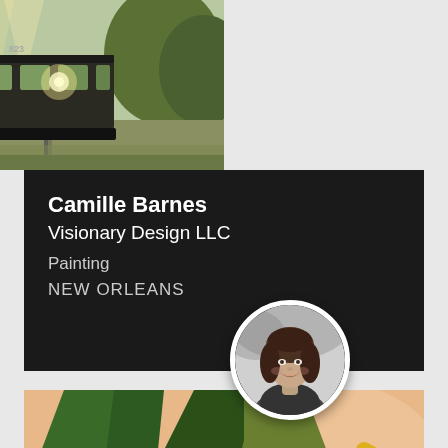[Figure (illustration): Painting of a New Orleans streetcar numbered 823 on a tree-lined avenue with flowers and a yellow car visible; warm glowing headlight on the streetcar]
Camille Barnes
Visionary Design LLC
Painting
NEW ORLEANS
[Figure (photo): Black and white circular portrait photo of a smiling woman with shoulder-length hair]
[Figure (illustration): Abstract painting with bold geometric shapes in dark green, olive, and yellow-gold on a peach/salmon background, suggesting a tropical or floral motif]